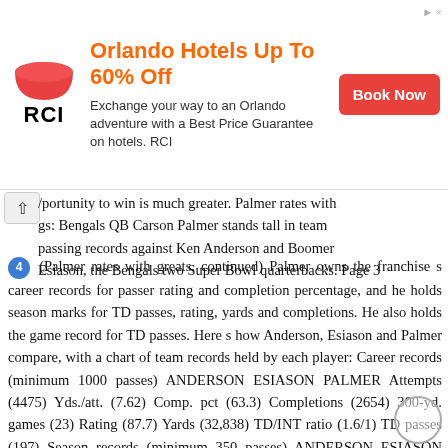[Figure (infographic): RCI advertisement banner: 'Orlando Hotels Up To 60% Off' with RCI logo, description text, and Book Now button]
portunity to win is much greater. Palmer rates with gs: Bengals QB Carson Palmer stands tall in team passing records against Ken Anderson and Boomer Esiason, the Bengals two Super Bowl quarterbacks. Page 3
4 (Palmer rates with greats, continued) Palmer owns the franchise s career records for passer rating and completion percentage, and he holds season marks for TD passes, rating, yards and completions. He also holds the game record for TD passes. Here s how Anderson, Esiason and Palmer compare, with a chart of team records held by each player: Career records (minimum 1000 passes) ANDERSON ESIASON PALMER Attempts (4475) Yds./att. (7.62) Comp. pct (63.3) Completions (2654) 300-yd. games (23) Rating (87.7) Yards (32,838) TD/INT ratio (1.6/1) TD passes (197) Season records (minimum 350 passes) ANDERSON ESIASON PALMER Comp. pct. (70.6) 300-yd. games (5)* Completions (373) TD/INT ratio